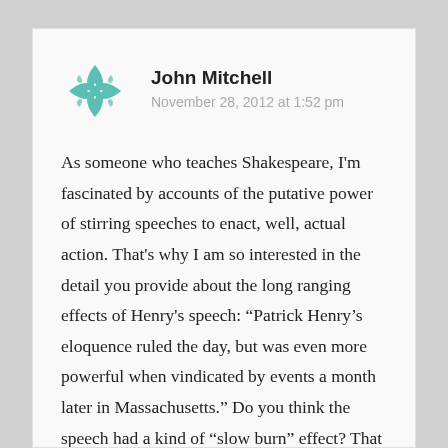John Mitchell
November 28, 2012 at 1:52 pm
As someone who teaches Shakespeare, I'm fascinated by accounts of the putative power of stirring speeches to enact, well, actual action. That's why I am so interested in the detail you provide about the long ranging effects of Henry's speech: “Patrick Henry’s eloquence ruled the day, but was even more powerful when vindicated by events a month later in Massachusetts.” Do you think the speech had a kind of “slow burn” effect? That is not the calling and to their facts in the